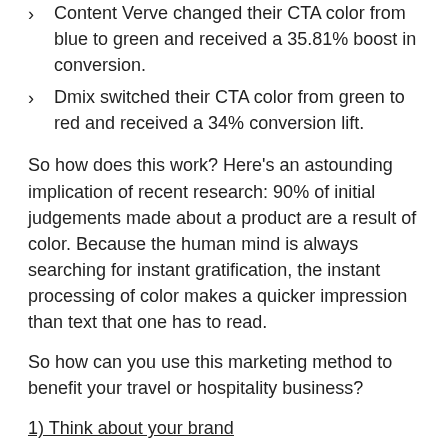Content Verve changed their CTA color from blue to green and received a 35.81% boost in conversion.
Dmix switched their CTA color from green to red and received a 34% conversion lift.
So how does this work? Here's an astounding implication of recent research: 90% of initial judgements made about a product are a result of color. Because the human mind is always searching for instant gratification, the instant processing of color makes a quicker impression than text that one has to read.
So how can you use this marketing method to benefit your travel or hospitality business?
1) Think about your brand
The colors you choose in your marketing strategy should always reflect your brand. Think about the mission statement